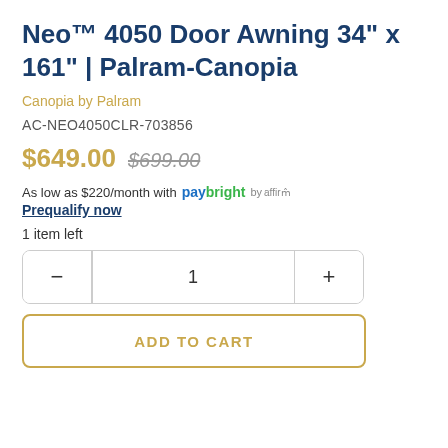Neo™ 4050 Door Awning 34" x 161" | Palram-Canopia
Canopia by Palram
AC-NEO4050CLR-703856
$649.00  $699.00
As low as $220/month with paybright by affirm
Prequalify now
1 item left
1
ADD TO CART